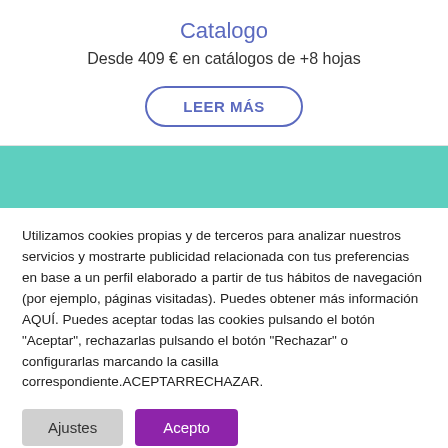Catalogo
Desde 409 € en catálogos de +8 hojas
LEER MÁS
[Figure (other): Teal/turquoise horizontal color band divider]
Utilizamos cookies propias y de terceros para analizar nuestros servicios y mostrarte publicidad relacionada con tus preferencias en base a un perfil elaborado a partir de tus hábitos de navegación (por ejemplo, páginas visitadas). Puedes obtener más información AQUÍ. Puedes aceptar todas las cookies pulsando el botón "Aceptar", rechazarlas pulsando el botón "Rechazar" o configurarlas marcando la casilla correspondiente.ACEPTARRECHAZAR.
Ajustes
Acepto